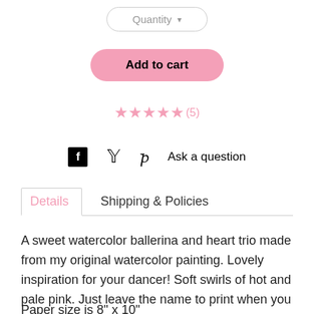[Figure (screenshot): Quantity dropdown button with rounded border]
[Figure (screenshot): Add to cart pink rounded button]
[Figure (screenshot): Five pink stars rating with (5) count]
[Figure (screenshot): Social sharing icons: Facebook, Twitter, Pinterest, and Ask a question link]
[Figure (screenshot): Details and Shipping & Policies tab navigation]
A sweet watercolor ballerina and heart trio made from my original watercolor painting. Lovely inspiration for your dancer! Soft swirls of hot and pale pink. Just leave the name to print when you check out.
Paper size is 8" x 10"